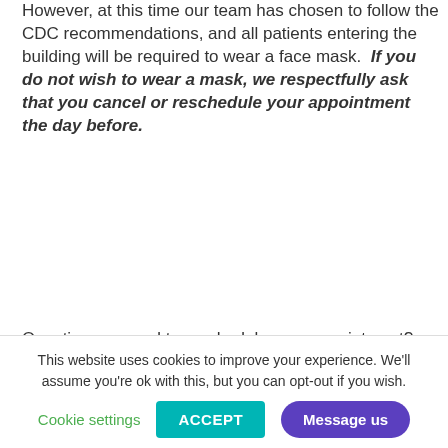However, at this time our team has chosen to follow the CDC recommendations, and all patients entering the building will be required to wear a face mask.  If you do not wish to wear a mask, we respectfully ask that you cancel or reschedule your appointment the day before.
Questions or need to reschedule your appointment?  Call us Monday - Friday between 8 am - 5 pm at 832-772-3330 or message us the [message button at bottom right of our website]...
This website uses cookies to improve your experience. We'll assume you're ok with this, but you can opt-out if you wish.